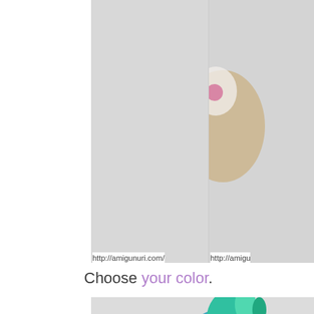[Figure (photo): A blue crocheted amigurumi owl toy with large white eyes with pink centers, a yellow beak, and colorful green/teal feet, photographed against a light grey background. Partially visible second image to the right.]
http://amigunuri.com/
http://amigu
Choose your color.
[Figure (photo): Multiple colorful crocheted amigurumi owl toys grouped together, including a purple one, a blue one in the center, and a partial view of another on the right. The owls have large white eyes with colored buttons/beads and colorful yarn details.]